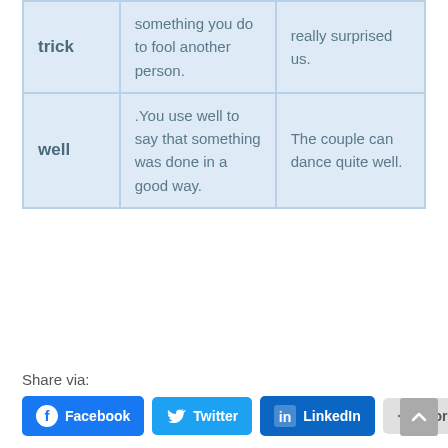| Word | Definition | Example |
| --- | --- | --- |
| trick | something you do to fool another person. | really surprised us. |
| well | .You use well to say that something was done in a good way. | The couple can dance quite well. |
Share via:
[Figure (infographic): Share buttons: Facebook, Twitter, LinkedIn, More; and a scroll-to-top button]